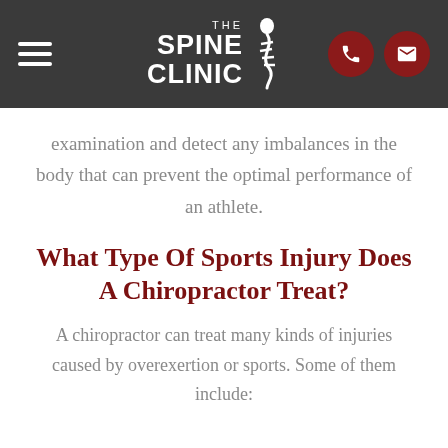The Spine Clinic
examination and detect any imbalances in the body that can prevent the optimal performance of an athlete.
What Type Of Sports Injury Does A Chiropractor Treat?
A chiropractor can treat many kinds of injuries caused by overexertion or sports. Some of them include: